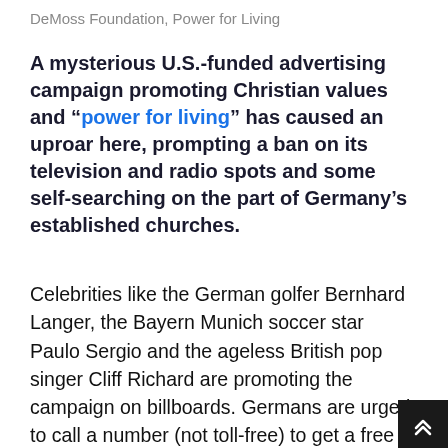DeMoss Foundation, Power for Living
A mysterious U.S.-funded advertising campaign promoting Christian values and “power for living” has caused an uproar here, prompting a ban on its television and radio spots and some self-searching on the part of Germany’s established churches.
Celebrities like the German golfer Bernhard Langer, the Bayern Munich soccer star Paulo Sergio and the ageless British pop singer Cliff Richard are promoting the campaign on billboards. Germans are urged to call a number (not toll-free) to get a free copy of a book that, the celebrities say,